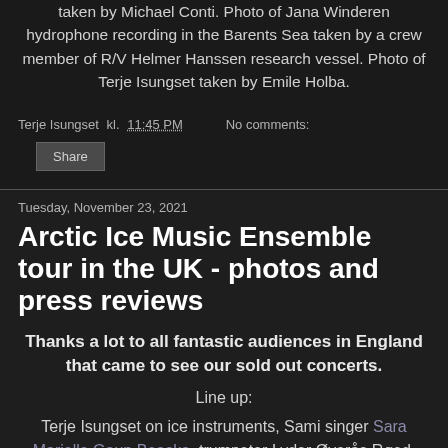taken by Michael Conti. Photo of Jana Winderen hydrophone recording in the Barents Sea taken by a crew member of R/V Helmer Hanssen research vessel. Photo of Terje Isungset taken by Emile Holba.
Terje Isungset kl. 11:45 PM   No comments:
Share
Tuesday, November 23, 2021
Arctic Ice Music Ensemble tour in the UK - photos and press reviews
Thanks a lot to all fantastic audiences in England that came to see our sold out concerts.
Line up:
Terje Isungset on ice instruments, Sami singer Sara Marielle Gaup Beaska, trumpeter Lyder Øverås Røed, singer Amalie Holt Kleive and video artist Anastasia Isachsen; Sweden's Viktor Reuter on double bass; Inuit throat singers Akinisie